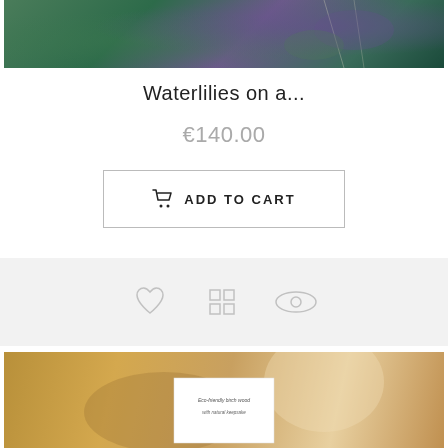[Figure (photo): Top portion of a product photo showing waterlilies artwork with green and purple tones]
Waterlilies on a...
€140.00
ADD TO CART
[Figure (infographic): Action bar with wishlist heart icon, grid/QR icon, and eye/preview icon on light gray background]
[Figure (photo): Bottom product photo showing blurred warm-toned image with a small white card reading 'Eco-friendly birch wood' and additional cursive text]